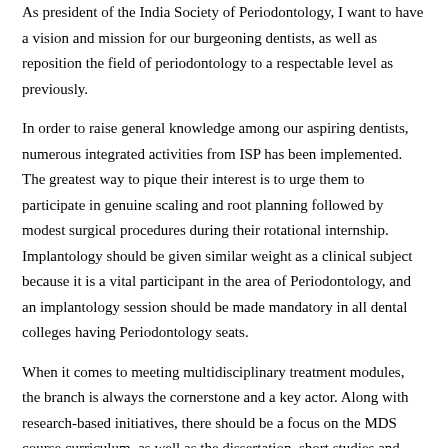As president of the India Society of Periodontology, I want to have a vision and mission for our burgeoning dentists, as well as reposition the field of periodontology to a respectable level as previously.
In order to raise general knowledge among our aspiring dentists, numerous integrated activities from ISP has been implemented. The greatest way to pique their interest is to urge them to participate in genuine scaling and root planning followed by modest surgical procedures during their rotational internship. Implantology should be given similar weight as a clinical subject because it is a vital participant in the area of Periodontology, and an implantology session should be made mandatory in all dental colleges having Periodontology seats.
When it comes to meeting multidisciplinary treatment modules, the branch is always the cornerstone and a key actor. Along with research-based initiatives, there should be a focus on the MDS course curriculum, as well as the dissertation, short studies and research work which should emphasise more on surgical aspects. Students should be given prominence and trained in a manner such that a keen interest can develop, allowing them to shine both as academicians and as successful clinicians.
So, as we all know and believe, "WE MAY NOT HAVE IT ALL TOGETHER